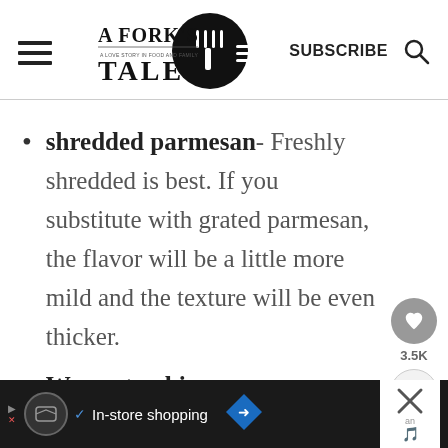A Fork's Tale — SUBSCRIBE
shredded parmesan- Freshly shredded is best. If you substitute with grated parmesan, the flavor will be a little more mild and the texture will be even thicker.
Worcestershire sauce